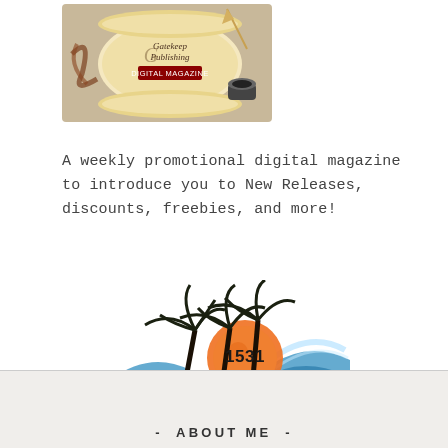[Figure (logo): Gatekeep Publishing Digital Magazine logo — a scroll with a quill and inkwell on a decorative background]
A weekly promotional digital magazine to introduce you to New Releases, discounts, freebies, and more!
[Figure (logo): 1531 Entertainment logo — palm trees silhouette with an orange sun and blue wave, text reads '1531 Entertainment']
- ABOUT ME -